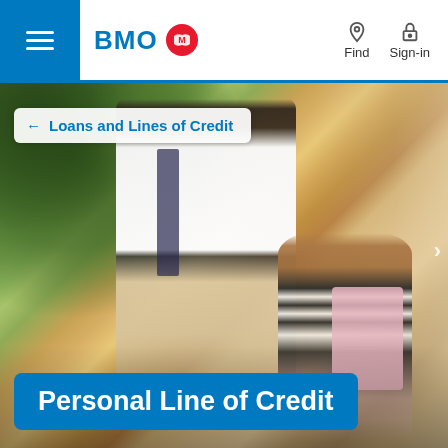BMO
Find   Sign-in
[Figure (photo): A father and young daughter walking outside a house, surrounded by green trees. The father wears a white shirt and carries a bag; the daughter wears a checkered dress with a backpack.]
← Loans and Lines of Credit
Personal Line of Credit